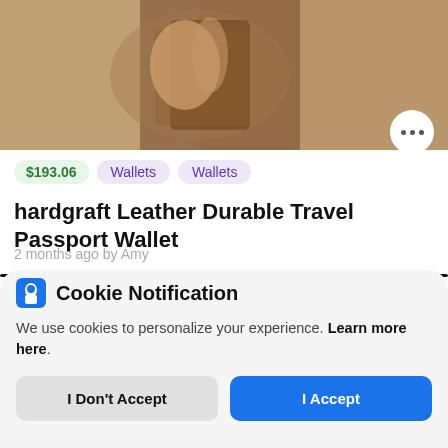[Figure (photo): Product photo showing a hand holding a brown leather wallet/passport holder against a warm background]
$193.06  Wallets  Wallets
hardgraft Leather Durable Travel Passport Wallet
2 months ago by Amy
Cookie Notification
We use cookies to personalize your experience. Learn more here.
I Don't Accept
I Accept